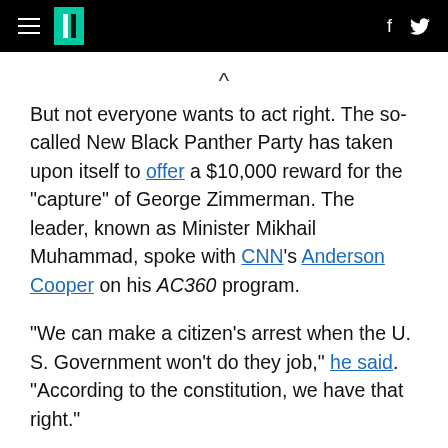HuffPost navigation bar with hamburger menu, logo, Facebook and Twitter icons
But not everyone wants to act right. The so-called New Black Panther Party has taken upon itself to offer a $10,000 reward for the "capture" of George Zimmerman. The leader, known as Minister Mikhail Muhammad, spoke with CNN's Anderson Cooper on his AC360 program.
"We can make a citizen's arrest when the U. S. Government won't do they job," he said. "According to the constitution, we have that right."
When Mr. Cooper challenged his knowledge of